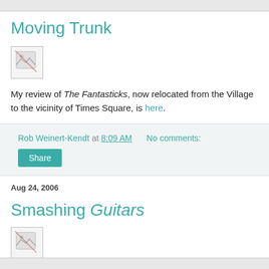Moving Trunk
[Figure (photo): Broken/missing image placeholder thumbnail]
My review of The Fantasticks, now relocated from the Village to the vicinity of Times Square, is here.
Rob Weinert-Kendt at 8:09 AM   No comments:
Share
Aug 24, 2006
Smashing Guitars
[Figure (photo): Broken/missing image placeholder thumbnail]
My review of Seven Guitars is here.